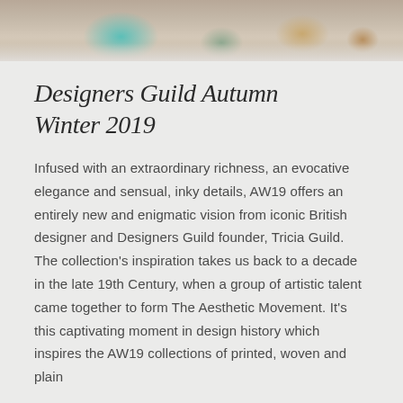[Figure (photo): Cropped top portion of a photo showing decorative objects, including what appears to be a teal/turquoise lid and warm-toned woven or textile items]
Designers Guild Autumn Winter 2019
Infused with an extraordinary richness, an evocative elegance and sensual, inky details, AW19 offers an entirely new and enigmatic vision from iconic British designer and Designers Guild founder, Tricia Guild. The collection's inspiration takes us back to a decade in the late 19th Century, when a group of artistic talent came together to form The Aesthetic Movement. It's this captivating moment in design history which inspires the AW19 collections of printed, woven and plain